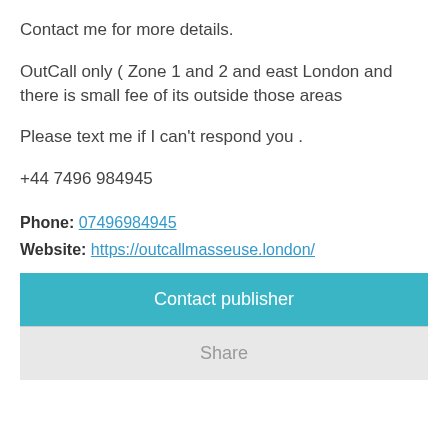Contact me for more details.
OutCall only ( Zone 1 and 2 and east London and there is small fee of its outside those areas
Please text me if I can't respond you .
+44 7496 984945
Phone: 07496984945
Website: https://outcallmasseuse.london/
Contact publisher
Share